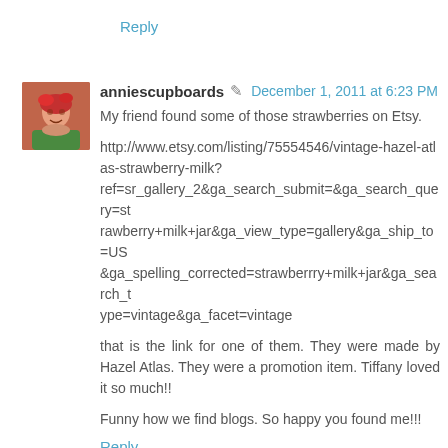Reply
anniescupboards ✏ December 1, 2011 at 6:23 PM
My friend found some of those strawberries on Etsy.
http://www.etsy.com/listing/75554546/vintage-hazel-atlas-strawberry-milk?ref=sr_gallery_2&ga_search_submit=&ga_search_query=strawberry+milk+jar&ga_view_type=gallery&ga_ship_to=US&ga_spelling_corrected=strawberrry+milk+jar&ga_search_type=vintage&ga_facet=vintage
that is the link for one of them. They were made by Hazel Atlas. They were a promotion item. Tiffany loved it so much!!
Funny how we find blogs. So happy you found me!!!
Reply